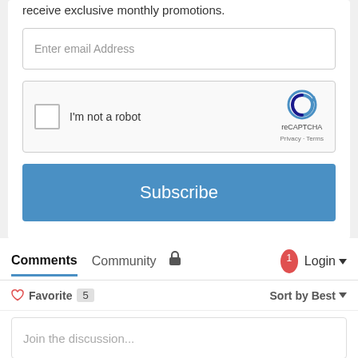receive exclusive monthly promotions.
[Figure (screenshot): Email address input field with placeholder text 'Enter email Address']
[Figure (screenshot): reCAPTCHA widget with checkbox 'I'm not a robot' and reCAPTCHA branding logo, Privacy and Terms links]
[Figure (screenshot): Blue 'Subscribe' button]
Comments   Community   🔒   1   Login ▾
♡ Favorite  5   Sort by Best ▾
Join the discussion...